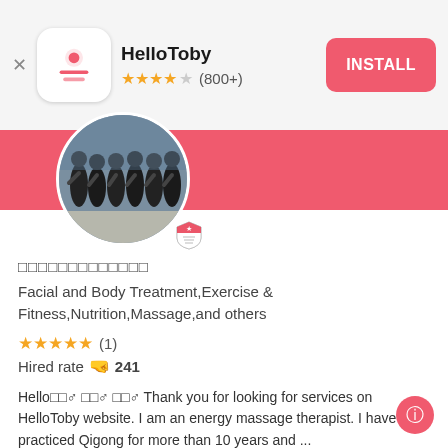HelloToby ★★★★☆ (800+) INSTALL
[Figure (photo): Circular profile photo of a group of people wearing black uniforms]
[Figure (logo): Small shield badge icon with red and white colors]
□□□□□□□□□□□□□
Facial and Body Treatment,Exercise & Fitness,Nutrition,Massage,and others
★★★★★ (1)
Hired rate 🤜 241
Hello□□♂ □□♂ □□♂ Thank you for looking for services on HelloToby website. I am an energy massage therapist. I have practiced Qigong for more than 10 years and ...
Slimming Treatments
Nutritionist Service